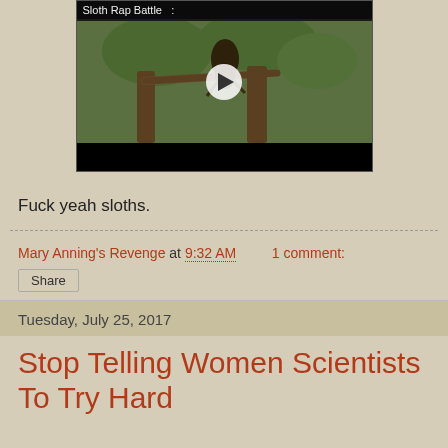[Figure (screenshot): Video thumbnail showing 'Sloth Rap Battle' with a sloth in a tree, black video controls bar at bottom, play button in center]
Fuck yeah sloths.
Mary Anning's Revenge at 9:32 AM    1 comment:
Share
Tuesday, July 25, 2017
Stop Telling Women Scientists To Try Hard